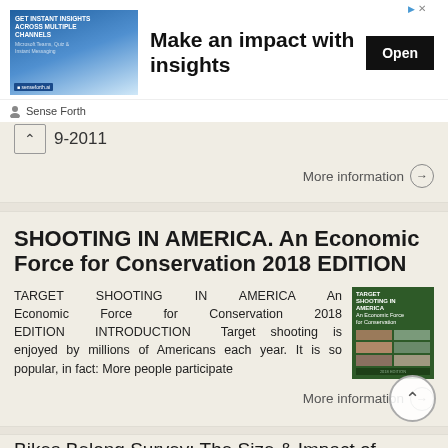[Figure (infographic): Advertisement banner: 'Make an impact with insights' with an Open button, showing a woman image and Sense Forth branding]
…-2011
More information →
SHOOTING IN AMERICA. An Economic Force for Conservation 2018 EDITION
TARGET SHOOTING IN AMERICA An Economic Force for Conservation 2018 EDITION INTRODUCTION Target shooting is enjoyed by millions of Americans each year. It is so popular, in fact: More people participate
More information →
Bikes Belong Survey: The Size & Impact of